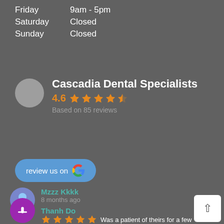Friday   9am - 5pm
Saturday   Closed
Sunday   Closed
Cascadia Dental Specialists
4.6  ★★★★½  Based on 85 reviews
[Figure (other): Review us on Google button with Google logo]
Mzzz Kkkk
8 months ago
★★★★★ Was a patient of theirs for a few years after an accident that resulted in impact to my jaws. They did a lot of… read more
Thanh Do